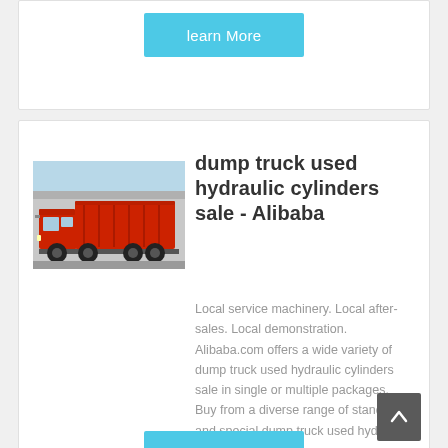learn More
[Figure (photo): Red dump truck parked in front of a building]
dump truck used hydraulic cylinders sale - Alibaba
Local service machinery. Local after-sales. Local demonstration. Alibaba.com offers a wide variety of dump truck used hydraulic cylinders sale in single or multiple packages. Buy from a diverse range of standard and special dump truck used hydraulic cylinders sale.